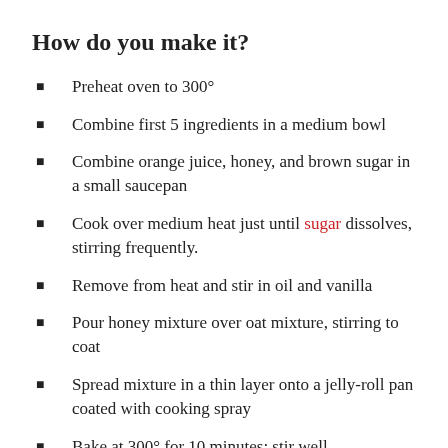How do you make it?
Preheat oven to 300°
Combine first 5 ingredients in a medium bowl
Combine orange juice, honey, and brown sugar in a small saucepan
Cook over medium heat just until sugar dissolves, stirring frequently.
Remove from heat and stir in oil and vanilla
Pour honey mixture over oat mixture, stirring to coat
Spread mixture in a thin layer onto a jelly-roll pan coated with cooking spray
Bake at 300° for 10 minutes; stir well.
Bake an additional 10 to 15 minutes or until golden